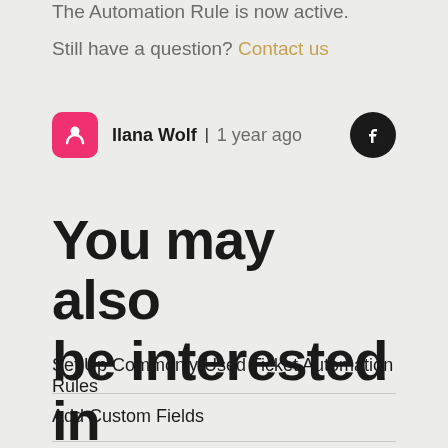The Automation Rule is now active.
Still have a question? Contact us
Ilana Wolf | 1 year ago
You may also be interested in
Set Up Commonly-Used Ticket Automation Rules
Add Custom Fields
Ticket Automation Conditions From Ticket The...